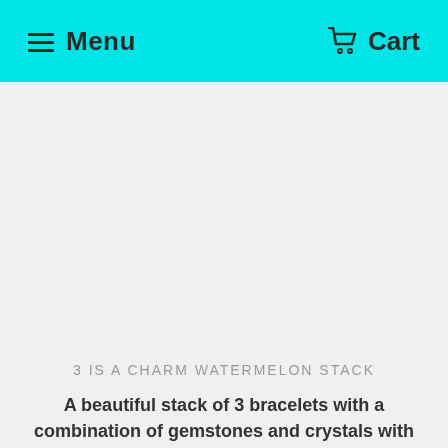Menu  Cart
[Figure (photo): Product image area — white/light gray background placeholder for a bracelet stack photo]
3 IS A CHARM WATERMELON STACK
A beautiful stack of 3 bracelets with a combination of gemstones and crystals with removable ring with brass